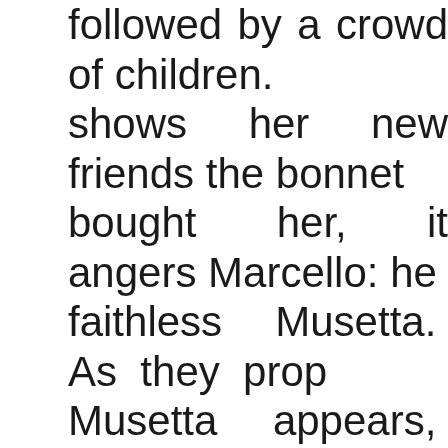followed by a crowd of children. shows her new friends the bonnet bought her, it angers Marcello: he faithless Musetta. As they prop Musetta appears, accompanied b an admirer whom she is torment increasingly agitated at being Marcello, determines to win him launches into a song in whi eventually joins. She complains